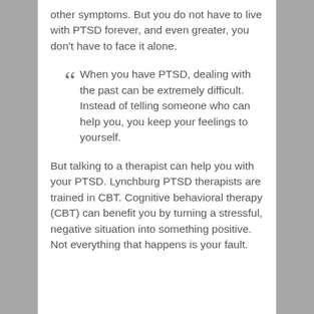other symptoms. But you do not have to live with PTSD forever, and even greater, you don't have to face it alone.
“ When you have PTSD, dealing with the past can be extremely difficult. Instead of telling someone who can help you, you keep your feelings to yourself.
But talking to a therapist can help you with your PTSD. Lynchburg PTSD therapists are trained in CBT. Cognitive behavioral therapy (CBT) can benefit you by turning a stressful, negative situation into something positive. Not everything that happens is your fault.